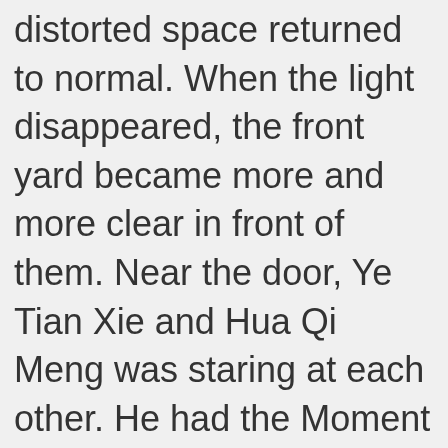distorted space returned to normal. When the light disappeared, the front yard became more and more clear in front of them. Near the door, Ye Tian Xie and Hua Qi Meng was staring at each other. He had the Moment of Destiny in his hand and it was pointed at Hua Qi Meng, being less than two centimeters away from her chest……